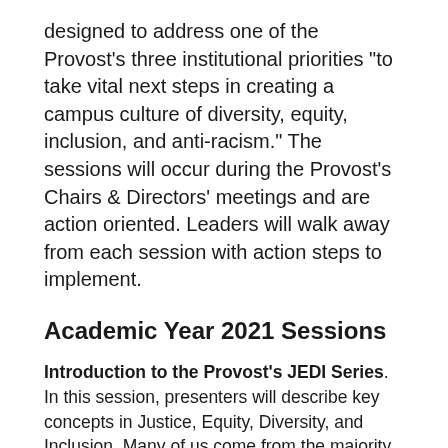designed to address one of the Provost's three institutional priorities "to take vital next steps in creating a campus culture of diversity, equity, inclusion, and anti-racism." The sessions will occur during the Provost's Chairs & Directors' meetings and are action oriented. Leaders will walk away from each session with action steps to implement.
Academic Year 2021 Sessions
Introduction to the Provost's JEDI Series. In this session, presenters will describe key concepts in Justice, Equity, Diversity, and Inclusion. Many of us come from the majority perspective; some are well-versed in this area, while others are still new learners. This session's outcome